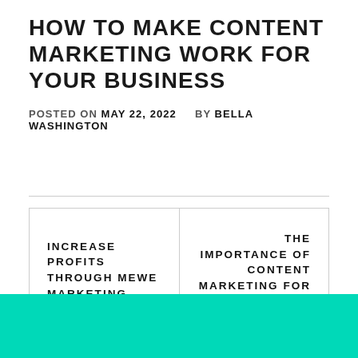HOW TO MAKE CONTENT MARKETING WORK FOR YOUR BUSINESS
POSTED ON MAY 22, 2022    BY BELLA WASHINGTON
| INCREASE PROFITS THROUGH MEWE MARKETING | THE IMPORTANCE OF CONTENT MARKETING FOR SEO |